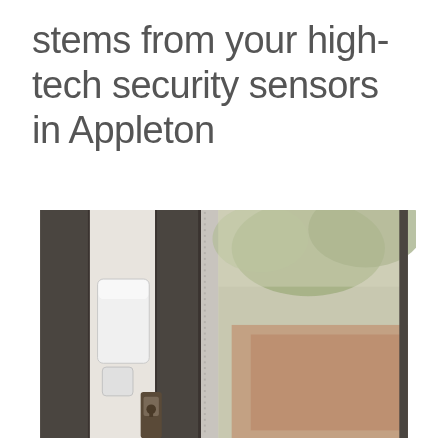stems from your high-tech security sensors in Appleton
[Figure (photo): Close-up photograph of a white door/window security sensor (contact sensor) mounted on a dark-framed door or window frame. The sensor is a small white rectangular device. A partial view of a door lock is visible at the bottom. Through the glass, an outdoor scene with greenery and brick is visible, blurred in the background.]